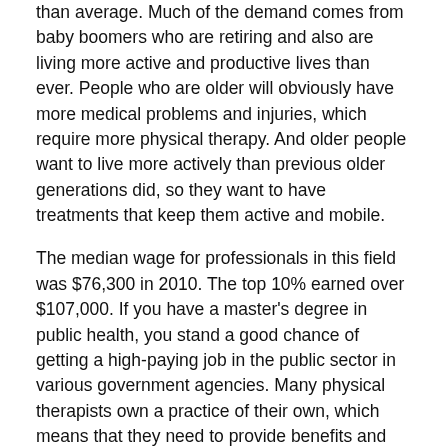than average. Much of the demand comes from baby boomers who are retiring and also are living more active and productive lives than ever. People who are older will obviously have more medical problems and injuries, which require more physical therapy. And older people want to live more actively than previous older generations did, so they want to have treatments that keep them active and mobile.
The median wage for professionals in this field was $76,300 in 2010. The top 10% earned over $107,000. If you have a master's degree in public health, you stand a good chance of getting a high-paying job in the public sector in various government agencies. Many physical therapists own a practice of their own, which means that they need to provide benefits and health insurance for their employees. See more from the Best Public Health Careers list.
Job Outlook for Physical Therapists